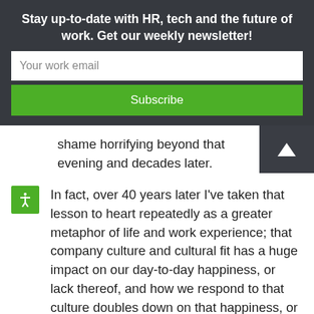Stay up-to-date with HR, tech and the future of work. Get our weekly newsletter!
Your work email
Subscribe
shame horrifying beyond that evening and decades later.
In fact, over 40 years later I've taken that lesson to heart repeatedly as a greater metaphor of life and work experience; that company culture and cultural fit has a huge impact on our day-to-day happiness, or lack thereof, and how we respond to that culture doubles down on that happiness, or – hell, you get the picture.
Being able to identify when a culture is turning bad, and what we can do about it, are obviously critical skills for managing our career happiness. If we don't react and